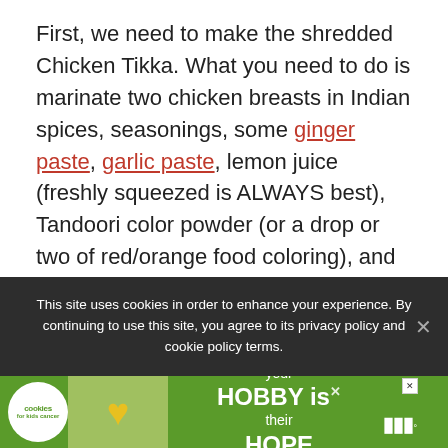First, we need to make the shredded Chicken Tikka. What you need to do is marinate two chicken breasts in Indian spices, seasonings, some ginger paste, garlic paste, lemon juice (freshly squeezed is ALWAYS best), Tandoori color powder (or a drop or two of red/orange food coloring), and Greek yogurt. The longer you leave the chicken in the marinade, the more tasty and tender it'll be! (I recommend leaving it in the fridge overnight and letting the marinade work its
This site uses cookies in order to enhance your experience. By continuing to use this site, you agree to its privacy policy and cookie policy terms.
[Figure (other): Advertisement banner: green background with cookies and kids cancer logo (circle with cookie icon), photo of hands holding a heart-shaped cookie, text 'your HOBBY is their HOPE', close button, and podcast logo on right]